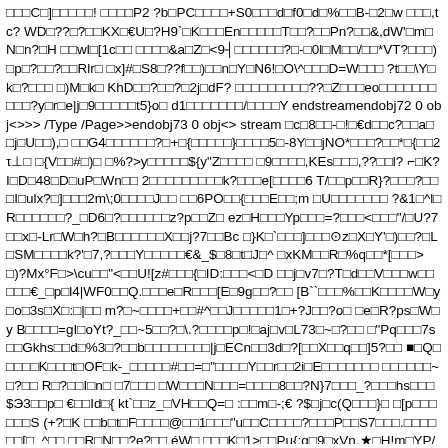□□□C□]□□□□□! □□□□P2 ?b□PC□□□□+S0□□□d□f0□d□%□□B-□2□w  □□□,tc? WD□??□?□□KX□€U□?H9`□K□□□En□□□□□T□□?□□Pn?□□&,dW'□m□N□n?□H □□wl□[1c□□  □□□□&a□Z□<9┤□□□□□□?□-□0l□M□□/□□*VT?□□□)□p□?□□?□□Rlr□ □x]#□S8□??f□□)□□n□Y□N6!□O\^□□□D=W□□□ ?t□□\Y□k□?□□□ □)M□k□ KhD□□?□□?□2j□dF? □□□□□□□□□??□Z□□□eo□□□□□□□□□□?y□r□e|j□9□□□□□t5}o□ d1□□□□□□□/□□□□Y endstreamendobj72 0 obj<>>> /Type /Page>>endobj73 0 obj<> stream □c□8□□-□!□€d□□c?□□a□□j□U□□),□ □□G4□□□□□□?□+□{□□□□□}□□□□5□-8Y□□jNO*□□□?□□*□{□□2τ⊥□  □{V□□#□)□ □%?>y□□□□□${y"Z□□□□ □9□□□□,KEs□□□,??□□l? ⌐□K?I□D□48□D□uP□Wn□□ 2□□□□□□□□□k?□□□e[□□□□6 T/□□p□□R}?□□□?□□□I□ulx?□]□□□2m\;0□□□□J□□ □□6PO□□{□□□E□□;m □U□□□□□□□ ?&1□^l□R□□□□□□?_□D6□?□□□□□□z?p□□Z□ ez□H□□□Yp□□□=?□□□<□□□"/□U?7□□x□-Lr□W□h?□B□□□□□□X□□j?7□□Bc □}K□`□□□]□□□⊙z□X□Y'□)□□?□L□SM□□□□k?'□7,?□□□Y□□□□□€&_$□8□t□J□^ □xKM□□R□%q□□*[□□□>□)?Mx°F□>\cu□□"<□□U![z#□□□{□ID:□□□<□D □□j□v7□?T□d□□V□□□w□□□□□€_□p□l4|WF0□□Q.□□□e□R□□□[E□9g□□?□□ [B``□□□%□□K□□□□W□y□o□3s□X□:□|□□ m?□~□□□□+□□#^□□J□□□□□1□+?J□□?o□ □e□R?ps□W□y B□□□□=gI□oYt?_□□~5□□?□\.?□□□□p□!□aj□v□L73□~□?□□ □"Pq□□□7s□□Gkhs□□d□%3□?□□b□□□□□□□□|j□ECn□□3d□?[□□X□□q□□]5?□□ ■□Q□□□□□K□□□t□OF□k-_□□□□□#□□=□"□□□□Y□□r□□2i□E□□□□□□□ □□□□□□~□?□□ R□?□□I□n□ □7□□□ □W□□□N□□□=□□□□8□□?N}7□□□_?□□□hs□□□$Э3□□p□ €□□Id□{ kt`□□z_□VH□□Q=□ :□□m□-;€ ?$□j□c(Q□□□}□ □[p□□□□□□S (+?□K □□b□t□F□□□□@□□1□□□"u□□C□□□□?□□□P□□S7□□□.□□□□□□[□_^□□ □□R□N□□?e?□□ éW□  □□□K□1>□□Pu{:g□9□xVn.★□H!m□YP/k□%?R□8□□□6□J€4?□□h□ C*>" □□□S?>.□□r□□□□□□□6°%□ $□□□□□□?□□N↓y□□□L? □□®tuH$8!p□j"□□ B\-□□□1D□~B□□□;□?□yB□V$"o□□□rz1E□□s□%□=!□□□□?o□G□□□□□I□□□8□□{□